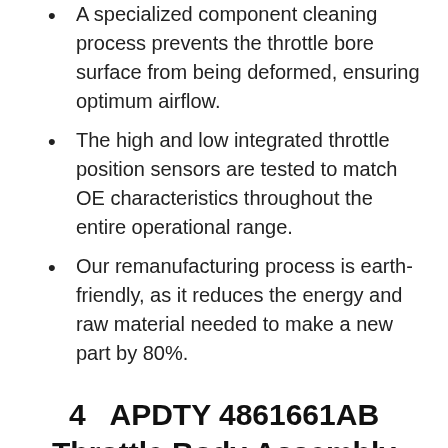A specialized component cleaning process prevents the throttle bore surface from being deformed, ensuring optimum airflow.
The high and low integrated throttle position sensors are tested to match OE characteristics throughout the entire operational range.
Our remanufacturing process is earth-friendly, as it reduces the energy and raw material needed to make a new part by 80%.
4   APDTY 4861661AB Throttle Body Assembly w/Actuator TPS IAC Idle Air Control Valve Fits Select 2007-12 Chrysler Dodge Jeep & Fiat & More (see listing)